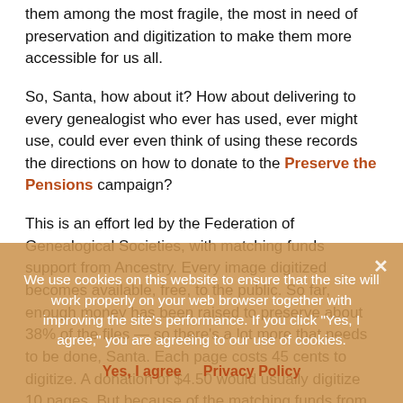them among the most fragile, the most in need of preservation and digitization to make them more accessible for us all.
So, Santa, how about it? How about delivering to every genealogist who ever has used, ever might use, could ever even think of using these records the directions on how to donate to the Preserve the Pensions campaign?
This is an effort led by the Federation of Genealogical Societies, with matching funds support from Ancestry. Every image digitized becomes available, free, to the public. So far, enough money has been raised to preserve about 38% of the files — so there's a lot more that needs to be done, Santa. Each page costs 45 cents to digitize. A donation of $4.50 would usually digitize 10 pages. But because of the matching funds from Ancestry that same donation will digitize 20 pages. For a flat $10, nearly 45 pages can be protected. Go to $20 and it's nearly 90 pages. And for $45, 200 pages of these genealogical
We use cookies on this website to ensure that the site will work properly on your web browser together with improving the site's performance. If you click "Yes, I agree," you are agreeing to our use of cookies.